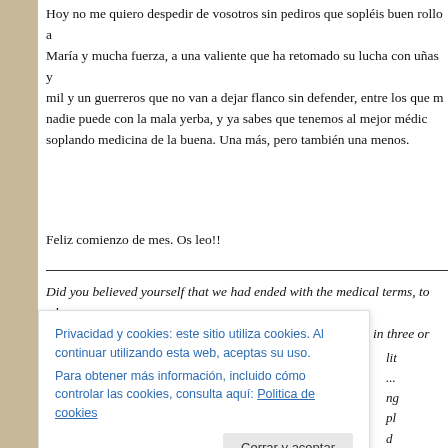Hoy no me quiero despedir de vosotros sin pediros que sopléis buen rollo a María y mucha fuerza, a una valiente que ha retomado su lucha con uñas y mil y un guerreros que no van a dejar flanco sin defender, entre los que m nadie puede con la mala yerba, y ya sabes que tenemos al mejor médic soplando medicina de la buena. Una más, pero también una menos.
Feliz comienzo de mes. Os leo!!
Did you believed yourself that we had ended with the medical terms, to wh happen for an operating room and my vocabulary increases in three or fou
Privacidad y cookies: este sitio utiliza cookies. Al continuar utilizando esta web, aceptas su uso.
Para obtener más información, incluido cómo controlar las cookies, consulta aquí: Politica de cookies
Cerrar y aceptar
medical consultations?? Absolute plenary session.